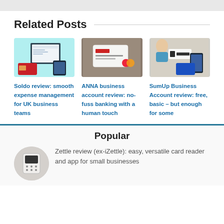Related Posts
[Figure (photo): Soldo dashboard interface shown on screen with cyan/teal background]
[Figure (photo): ANNA business bank card on wooden surface, gray/brown background]
[Figure (photo): SumUp Business Account card with woman and phone, beige background]
Soldo review: smooth expense management for UK business teams
ANNA business account review: no-fuss banking with a human touch
SumUp Business Account review: free, basic – but enough for some
Popular
[Figure (photo): Zettle card reader device, circular cropped image]
Zettle review (ex-iZettle): easy, versatile card reader and app for small businesses